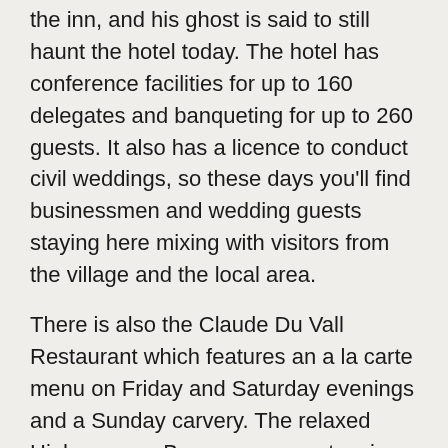the inn, and his ghost is said to still haunt the hotel today. The hotel has conference facilities for up to 160 delegates and banqueting for up to 260 guests. It also has a licence to conduct civil weddings, so these days you'll find businessmen and wedding guests staying here mixing with visitors from the village and the local area.
There is also the Claude Du Vall Restaurant which features an a la carte menu on Friday and Saturday evenings and a Sunday carvery. The relaxed Highwayman Bar serves an extensive bar menu featuring fresh locally sourced produce, and local beer; the bar also has a pool table.
Contact
The Holt Hotel
Nr Steeple Aston